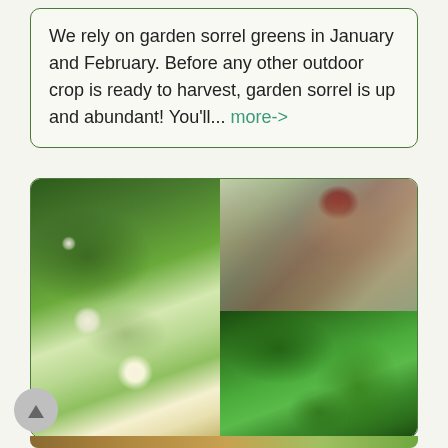We rely on garden sorrel greens in January and February. Before any other outdoor crop is ready to harvest, garden sorrel is up and abundant! You'll... more->
[Figure (photo): Collage of three garden photos: left side shows white flowers with yellow centers and a bee, top-right shows a child in red hat and overalls holding a tray with bulbs/roots in a greenhouse, bottom-right shows large green leaves (possibly trillium or similar plant)]
[Figure (photo): Bottom strip showing what appears to be sliced green cucumber or vegetable on a wooden cutting board]